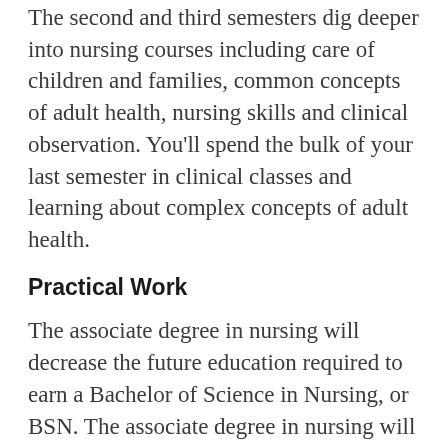The second and third semesters dig deeper into nursing courses including care of children and families, common concepts of adult health, nursing skills and clinical observation. You'll spend the bulk of your last semester in clinical classes and learning about complex concepts of adult health.
Practical Work
The associate degree in nursing will decrease the future education required to earn a Bachelor of Science in Nursing, or BSN. The associate degree in nursing will pave the way for you to work in home care, ambulatory care, hospice and other medical clinics. Your skills and licensure will allow you to perform similar tasks to an LPN.